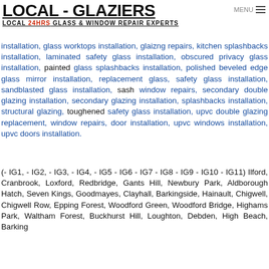LOCAL - GLAZIERS
LOCAL 24HRS GLASS & WINDOW REPAIR EXPERTS
installation, glass worktops installation, glazing repairs, kitchen splashbacks installation, laminated safety glass installation, obscured privacy glass installation, painted glass splashbacks installation, polished beveled edge glass mirror installation, replacement glass, safety glass installation, sandblasted glass installation, sash window repairs, secondary double glazing installation, secondary glazing installation, splashbacks installation, structural glazing, toughened safety glass installation, upvc double glazing replacement, window repairs, door installation, upvc windows installation, upvc doors installation.
(- IG1, - IG2, - IG3, - IG4, - IG5 - IG6 - IG7 - IG8 - IG9 - IG10 - IG11) Ilford, Cranbrook, Loxford, Redbridge, Gants Hill, Newbury Park, Aldborough Hatch, Seven Kings, Goodmayes, Clayhall, Barkingside, Hainault, Chigwell, Chigwell Row, Epping Forest, Woodford Green, Woodford Bridge, Highams Park, Waltham Forest, Buckhurst Hill, Loughton, Debden, High Beach, Barking